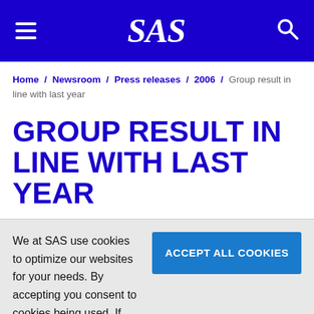SAS
Home / Newsroom / Press releases / 2006 / Group result in line with last year
GROUP RESULT IN LINE WITH LAST YEAR
We at SAS use cookies to optimize our websites for your needs. By accepting you consent to cookies being used. If you want to find out more or disable cookies, please click here
ACCEPT ALL COOKIES